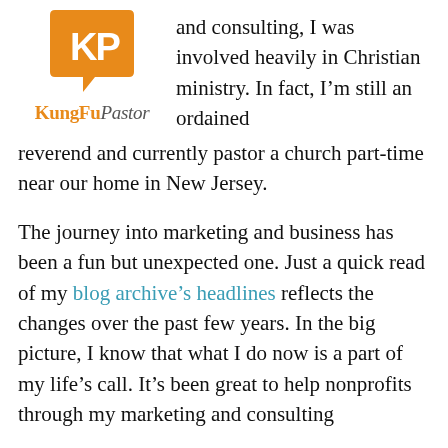[Figure (logo): KungFuPastor logo: orange speech-bubble shape with 'KP' letters in white, and 'KungFu' in orange bold with 'Pastor' in gray italic below]
and consulting, I was involved heavily in Christian ministry. In fact, I'm still an ordained reverend and currently pastor a church part-time near our home in New Jersey.
The journey into marketing and business has been a fun but unexpected one. Just a quick read of my blog archive's headlines reflects the changes over the past few years. In the big picture, I know that what I do now is a part of my life's call. It's been great to help nonprofits through my marketing and consulting